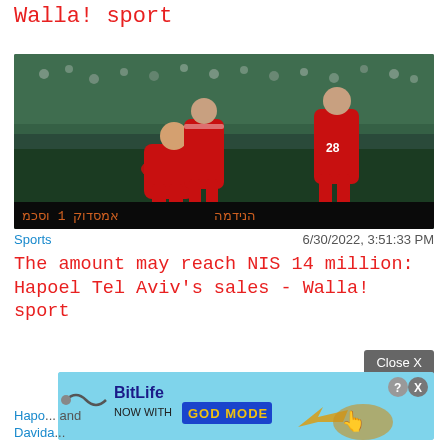Walla! sport
[Figure (photo): Soccer players in red Hapoel Tel Aviv uniforms on a dark stadium field, one player bent over, another standing behind, a third player with number 28 jersey on the right, LED scoreboard ticker visible at the bottom]
Sports     6/30/2022, 3:51:33 PM
The amount may reach NIS 14 million: Hapoel Tel Aviv's sales - Walla! sport
Close X
[Figure (infographic): BitLife advertisement banner: 'BitLife NOW WITH GOD MODE' on light blue background with hand pointing finger graphic and question mark/X close buttons]
Hapo... and Davida...